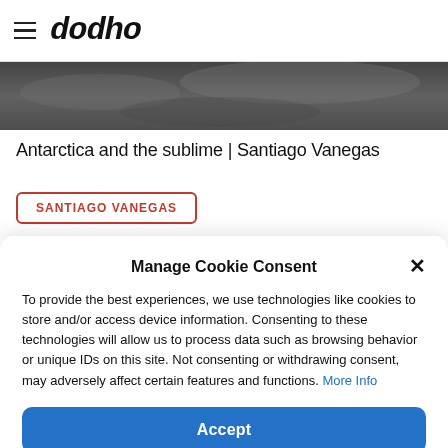dodho
[Figure (photo): Dark grayscale hero image strip at top of article]
Antarctica and the sublime | Santiago Vanegas
SANTIAGO VANEGAS
Manage Cookie Consent
To provide the best experiences, we use technologies like cookies to store and/or access device information. Consenting to these technologies will allow us to process data such as browsing behavior or unique IDs on this site. Not consenting or withdrawing consent, may adversely affect certain features and functions. More Info
Accept